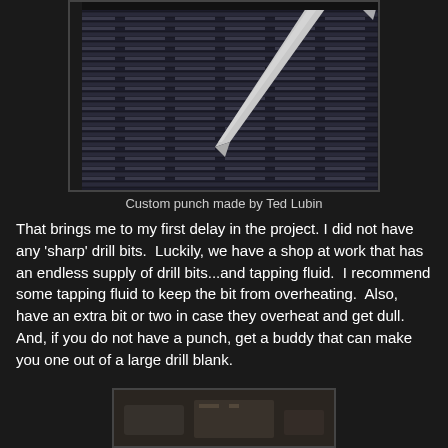[Figure (photo): Close-up photo of a custom metal punch tool resting on a metal grate or grille surface. The punch is a long tapered metallic rod pointing diagonally downward onto the dark slotted metal grate.]
Custom punch made by Ted Lubin
That brings me to my first delay in the project. I did not have any 'sharp' drill bits.  Luckily, we have a shop at work that has an endless supply of drill bits...and tapping fluid.  I recommend some tapping fluid to keep the bit from overheating.  Also, have an extra bit or two in case they overheat and get dull.  And, if you do not have a punch, get a buddy that can make you one out of a large drill blank.
[Figure (photo): Partial photo at the bottom of the page showing what appears to be tools or mechanical parts on a surface, cut off at the page edge.]